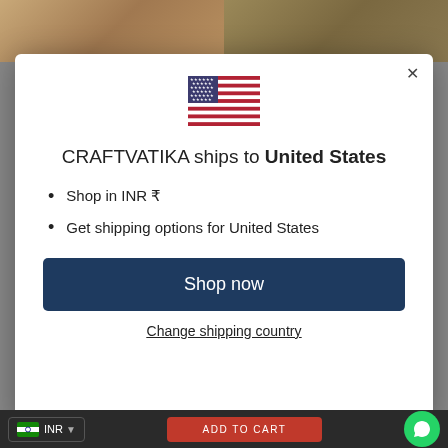[Figure (screenshot): Background showing product images of Indian deity figurines (Craftvatika store) dimmed behind a modal dialog]
CRAFTVATIKA ships to United States
Shop in INR ₹
Get shipping options for United States
Shop now
Change shipping country